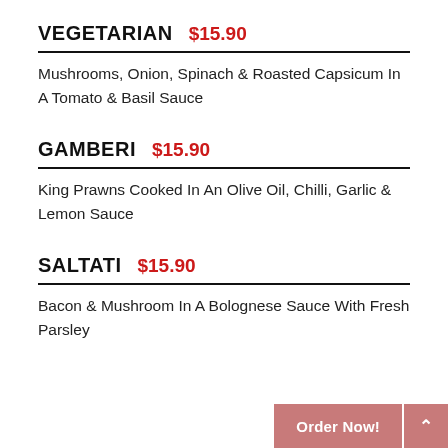VEGETARIAN $15.90
Mushrooms, Onion, Spinach & Roasted Capsicum In A Tomato & Basil Sauce
GAMBERI $15.90
King Prawns Cooked In An Olive Oil, Chilli, Garlic & Lemon Sauce
SALTATI $15.90
Bacon & Mushroom In A Bolognese Sauce With Fresh Parsley